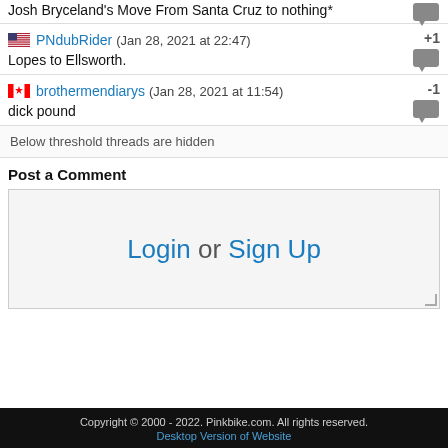Josh Bryceland's Move From Santa Cruz to nothing*
PNdubRider (Jan 28, 2021 at 22:47) +1
Lopes to Ellsworth.
brothermendiarys (Jan 28, 2021 at 11:54) -1
dick pound
Below threshold threads are hidden
Post a Comment
Login or Sign Up
Copyright © 2000 - 2022. Pinkbike.com. All rights reserved.
Desktop Version of Website